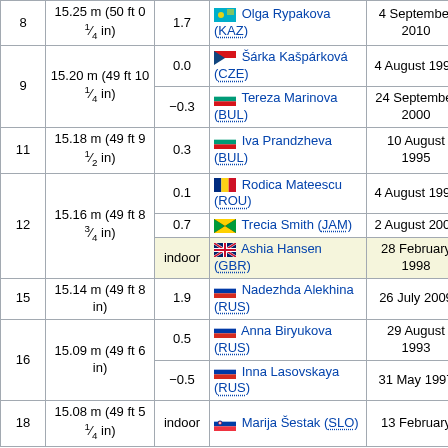| # | Distance | Wind | Athlete | Date |  |
| --- | --- | --- | --- | --- | --- |
| 8 | 15.25 m (50 ft 0 1⁄4 in) | 1.7 | Olga Rypakova (KAZ) | 4 September 2010 |  |
| 9 | 15.20 m (49 ft 10 1⁄4 in) | 0.0 | Šárka Kašpárková (CZE) | 4 August 1997 |  |
| 9 | 15.20 m (49 ft 10 1⁄4 in) | −0.3 | Tereza Marinova (BUL) | 24 September 2000 |  |
| 11 | 15.18 m (49 ft 9 1⁄2 in) | 0.3 | Iva Prandzheva (BUL) | 10 August 1995 | G |
| 12 | 15.16 m (49 ft 8 3⁄4 in) | 0.1 | Rodica Mateescu (ROU) | 4 August 1997 |  |
| 12 | 15.16 m (49 ft 8 3⁄4 in) | 0.7 | Trecia Smith (JAM) | 2 August 2004 |  |
| 12 | 15.16 m (49 ft 8 3⁄4 in) | indoor | Ashia Hansen (GBR) | 28 February 1998 |  |
| 15 | 15.14 m (49 ft 8 in) | 1.9 | Nadezhda Alekhina (RUS) | 26 July 2009 | C |
| 16 | 15.09 m (49 ft 6 in) | 0.5 | Anna Biryukova (RUS) | 29 August 1993 |  |
| 16 | 15.09 m (49 ft 6 in) | −0.5 | Inna Lasovskaya (RUS) | 31 May 1997 |  |
| 18 | 15.08 m (49 ft 5 1⁄4 in) | indoor | Marija Šestak (SLO) | 13 February |  |